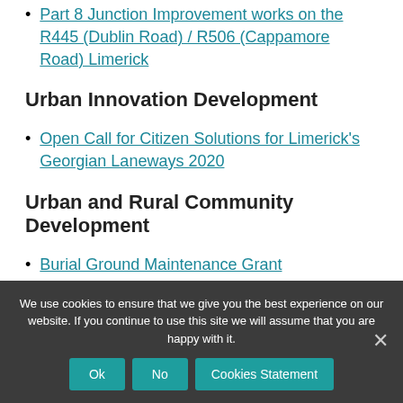Part 8 Junction Improvement works on the R445 (Dublin Road) / R506 (Cappamore Road) Limerick
Urban Innovation Development
Open Call for Citizen Solutions for Limerick's Georgian Laneways 2020
Urban and Rural Community Development
Burial Ground Maintenance Grant
We use cookies to ensure that we give you the best experience on our website. If you continue to use this site we will assume that you are happy with it.